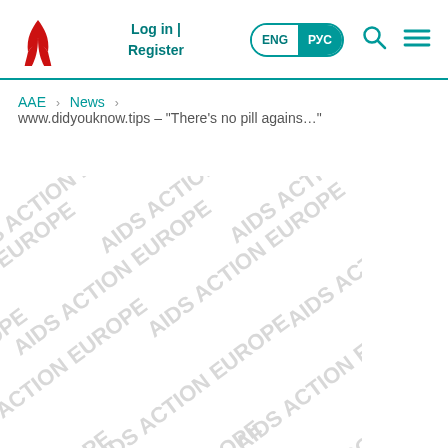Log in | Register  ENG РУС
AAE > News > www.didyouknow.tips – "There's no pill agains..."
[Figure (photo): AIDS Action Europe watermark pattern image with repeating diagonal text 'AIDS ACTION EUROPE' in grey on white background]